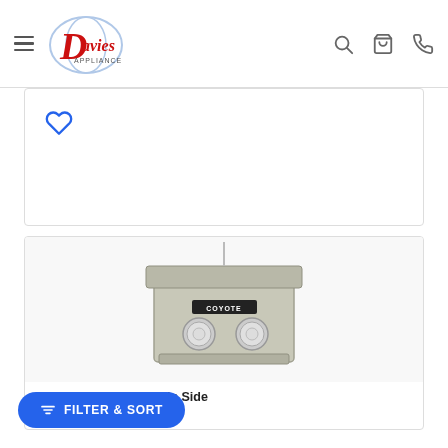Davies Appliance — navigation header with menu, logo, search, cart, and phone icons
[Figure (screenshot): Partial product card showing a heart/wishlist icon]
[Figure (photo): Coyote Outdoor Living Double Slide In Side Burner in Stainless Steel product photo on white background]
Living Double Slide In Side Steel